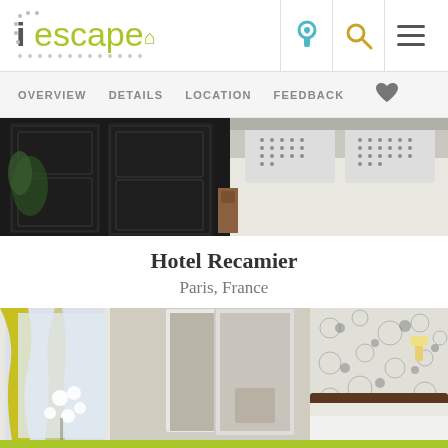[Figure (logo): iescape logo with keyhole, magnifier, and hamburger menu icons]
OVERVIEW   DETAILS   LOCATION   FEEDBACK   ♥
[Figure (photo): Hotel room photo showing black wardrobe/closet and bed with patterned pillows]
Hotel Recamier
Paris, France
[Figure (photo): Hotel room photo showing bright room with yellow curtains, mirror, and floral wallpaper]
CHECK AVAILABILITY ⚡